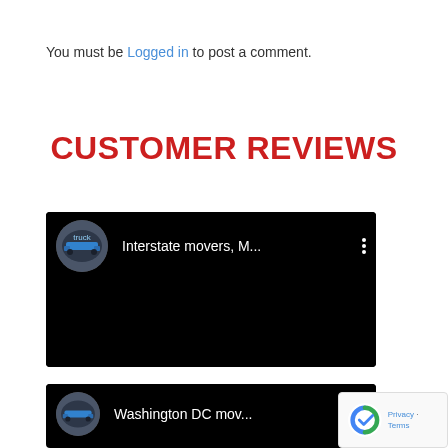You must be Logged in to post a comment.
CUSTOMER REVIEWS
[Figure (screenshot): YouTube video embed showing 'Interstate movers, M...' with a truck avatar and black video area]
[Figure (screenshot): YouTube video embed showing 'Washington DC mov...' with a truck avatar]
[Figure (logo): reCAPTCHA badge with Privacy and Terms links]